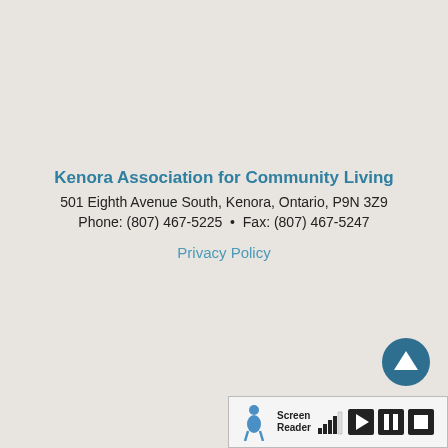Kenora Association for Community Living
501 Eighth Avenue South, Kenora, Ontario, P9N 3Z9
Phone: (807) 467-5225  •  Fax: (807) 467-5247
Privacy Policy
[Figure (screenshot): Scroll-to-top circular button with upward chevron icon, teal/dark blue color]
[Figure (screenshot): Screen Reader toolbar widget with pedestrian icon, signal bars, play, pause, and stop buttons]